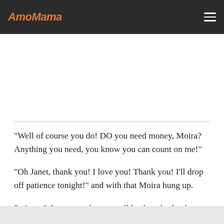AmoMama
"Well of course you do! DO you need money, Moira? Anything you need, you know you can count on me!"
"Oh Janet, thank you! I love you! Thank you! I'll drop off patience tonight!" and with that Moira hung up.
Patience? Janet was about to call back and ask who or